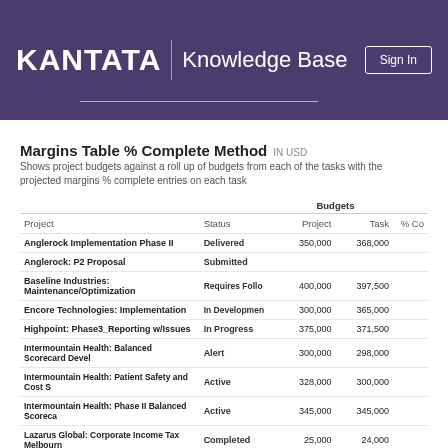KANTATA | Knowledge Base
Margins Table % Complete Method IN USD
Shows project budgets against a roll up of budgets from each of the tasks with the projected margins % complete entries on each task
| Project | Status | Project | Task | % Co |
| --- | --- | --- | --- | --- |
| Anglerock Implementation Phase II | Delivered | 350,000 | 368,000 |  |
| Anglerock: P2 Proposal | Submitted |  |  |  |
| Baseline Industries: Maintenance/Optimization | Requires Follo | 400,000 | 397,500 |  |
| Encore Technologies: Implementation | In Developmen | 300,000 | 365,000 |  |
| Highpoint: Phase3_Reporting w/Issues | In Progress | 375,000 | 371,500 |  |
| Intermountain Health: Balanced Scorecard Devel | Alert | 300,000 | 298,000 |  |
| Intermountain Health: Patient Safety and Cost S | Active | 328,000 | 300,000 |  |
| Intermountain Health: Phase II Balanced Scoreca | Active | 345,000 | 345,000 |  |
| Lazarus Global: Corporate Income Tax Melbourn | Completed | 25,000 | 24,000 |  |
| Pacific General: 2019 Application Support and M | Active | 250,000 | 229,000 |  |
| Rollup |  | 2,673,000 | 2,698,000 |  |